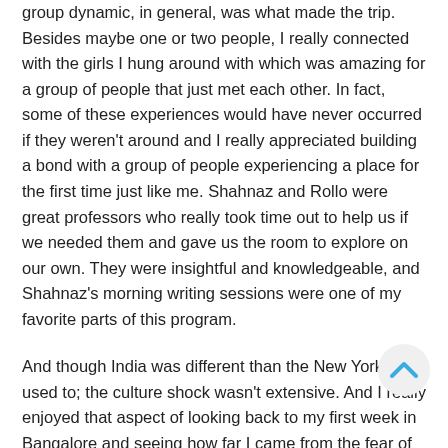group dynamic, in general, was what made the trip. Besides maybe one or two people, I really connected with the girls I hung around with which was amazing for a group of people that just met each other. In fact, some of these experiences would have never occurred if they weren't around and I really appreciated building a bond with a group of people experiencing a place for the first time just like me. Shahnaz and Rollo were great professors who really took time out to help us if we needed them and gave us the room to explore on our own. They were insightful and knowledgeable, and Shahnaz's morning writing sessions were one of my favorite parts of this program.
And though India was different than the New York I am used to; the culture shock wasn't extensive. And I really enjoyed that aspect of looking back to my first week in Bangalore and seeing how far I came from the fear of crossing streets because of the chaotic traffic to doing so with ease and dealing with the spontaneous bouts of rain that always caught me off guard initially. As well as being unsure what to eat to finding dinner stables and picking my favorite regional dishes and breads. Or the transition from constantly walking places to riding in rickshaws